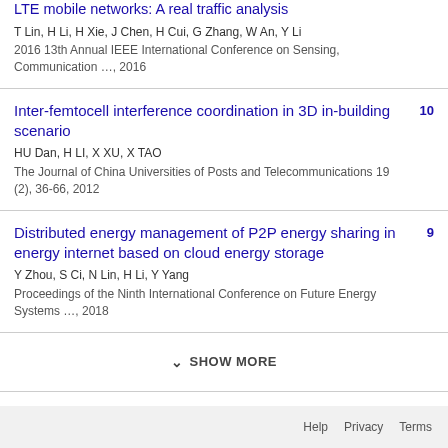LTE mobile networks: A real traffic analysis
T Lin, H Li, H Xie, J Chen, H Cui, G Zhang, W An, Y Li
2016 13th Annual IEEE International Conference on Sensing, Communication …, 2016
Inter-femtocell interference coordination in 3D in-building scenario | 10
HU Dan, H LI, X XU, X TAO
The Journal of China Universities of Posts and Telecommunications 19 (2), 36-66, 2012
Distributed energy management of P2P energy sharing in energy internet based on cloud energy storage | 9
Y Zhou, S Ci, N Lin, H Li, Y Yang
Proceedings of the Ninth International Conference on Future Energy Systems …, 2018
SHOW MORE
Help   Privacy   Terms